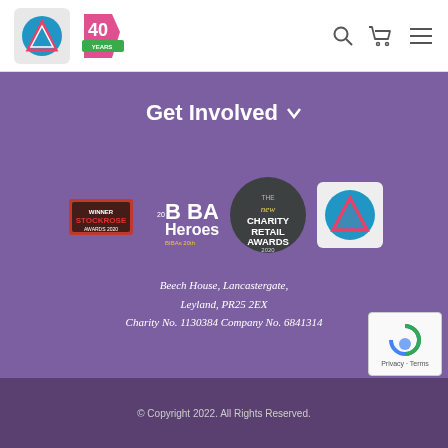[Figure (logo): Website header with charity logos (triangle logo in grey box, 40 Years logo), search icon, cart icon, and hamburger menu icon on white background]
Get Involved ∨
[Figure (logo): Row of award logos: Stockrose Awards, BIBAs Heroes (20th), The New Charity Retail Awards 2020, and charity triangle logo]
Beech House, Lancastergate, Leyland, PR25 2EX Charity No. 1130384 Company No. 6841314
© Copyright 2022. All Rights Reserved.